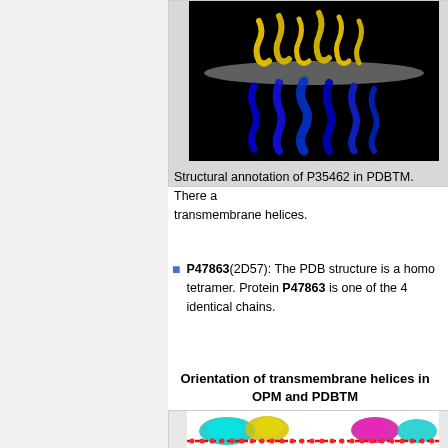[Figure (photo): Molecular structure visualization of P35462 in PDBTM on black background, showing yellow helices above a gray horizontal plane and blue helices below, representing transmembrane helices orientation.]
Structural annotation of P35462 in PDBTM. There a transmembrane helices.
P47863(2D57): The PDB structure is a homo tetramer. Protein P47863 is one of the 4 identical chains.
Orientation of transmembrane helices in OPM and PDBTM
[Figure (photo): Protein structure visualization showing a homotetrameric assembly with cyan, yellow, and magenta colored protein chains, with red dotted lines indicating the membrane boundary.]